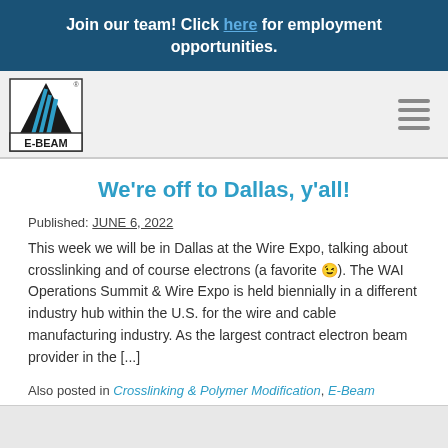Join our team! Click here for employment opportunities.
[Figure (logo): E-BEAM company logo: black triangle with blue diagonal lines, text E-BEAM below]
We're off to Dallas, y'all!
Published: JUNE 6, 2022
This week we will be in Dallas at the Wire Expo, talking about crosslinking and of course electrons (a favorite 😉). The WAI Operations Summit & Wire Expo is held biennially in a different industry hub within the U.S. for the wire and cable manufacturing industry. As the largest contract electron beam provider in the [...]
Also posted in Crosslinking & Polymer Modification, E-Beam